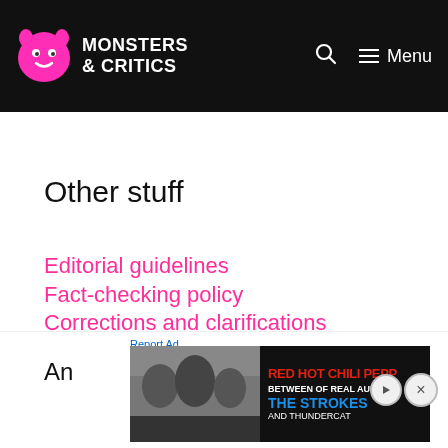Monsters & Critics
Other stuff
Editorial guidelines
Fact-checking policy
Corrections and clarifications
Ownership & funding
Privacy and cookies policy
Terms of Service
[Figure (photo): Red Hot Chili Peppers advertisement banner with concert photo and text: RED HOT CHILI PEPPERS, THE STROKES, AND THUNDERCAT]
Report Ad